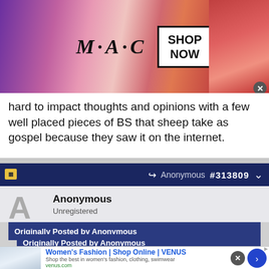[Figure (photo): M·A·C cosmetics advertisement banner showing colorful lipsticks and a 'SHOP NOW' box, with a close button]
hard to impact thoughts and opinions with a few well placed pieces of BS that sheep take as gospel because they saw it on the internet.
Anonymous #313809
Anonymous
Unregistered
Originally Posted by Anonymous
Originally Posted by Anonymous
Same TG parent here.....was much more impressed with Janelli than Lomo. I know they always play great
[Figure (screenshot): Women's Fashion | Shop Online | VENUS advertisement banner with website screenshot, tagline 'Shop the best in women's fashion, clothing, swimwear', venus.com URL, close button and arrow button]